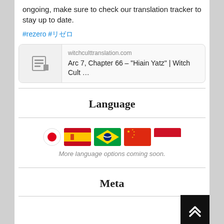ongoing, make sure to check our translation tracker to stay up to date.
#rezero #リゼロ
[Figure (screenshot): Link preview card showing witchculttranslation.com with article title: Arc 7, Chapter 66 – "Hiain Yatz" | Witch Cult ...]
Language
[Figure (infographic): Row of flag icons: Japan (red circle), Spain, Brazil, China, Indonesia]
More language options coming soon.
Meta